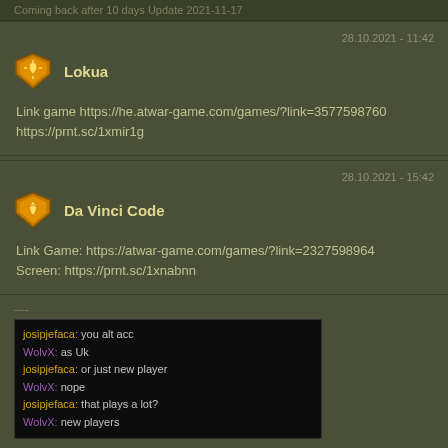Coming back after 10 days Update 2021-11-17
28.10.2021 - 11:42
Lokua
Link game https://he.atwar-game.com/games/?link=3577598760 https://prnt.sc/1xmir1g
28.10.2021 - 15:42
Da Vinci Code
Link Game: https://atwar-game.com/games/?link=2327598964
Screen: https://prnt.sc/1xnabnn
----
[Figure (screenshot): Chat screenshot showing conversation: josipjefaca: you alt acc, WolvX: as Uk, josipjefaca: or just new player, WolvX: nope, josipjefaca: that plays a lot?, WolvX: new players]